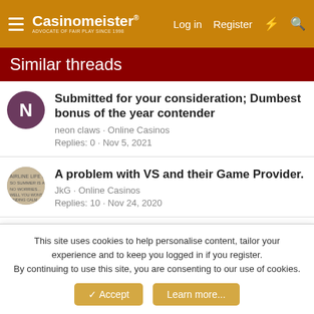Casinomeister® — Log in  Register
Similar threads
Submitted for your consideration; Dumbest bonus of the year contender — neon claws · Online Casinos — Replies: 0 · Nov 5, 2021
A problem with VS and their Game Provider. — JkG · Online Casinos — Replies: 10 · Nov 24, 2020
[Expired Promo] LV BET's Christmas Casino & Sports Calendars — LadyJelena · Christmas Promotions and Special Contests
This site uses cookies to help personalise content, tailor your experience and to keep you logged in if you register.
By continuing to use this site, you are consenting to our use of cookies.